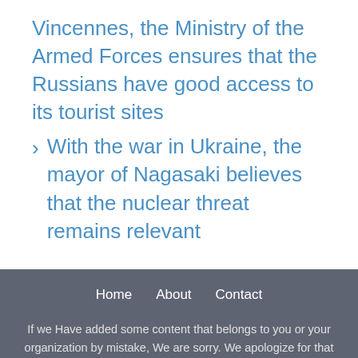Vincennes, the Ministry of the Armed Forces ensures that the Russians have good access to its tourist sites
> With the war in Ukraine, the mayor of Nagasaki believes that the nuclear threat remains relevant
Home   About   Contact
If we Have added some content that belongs to you or your organization by mistake, We are sorry. We apologize for that and assure you that this won't be repeated in the future. If you are the rightful owner of the content used in our Website, please email us